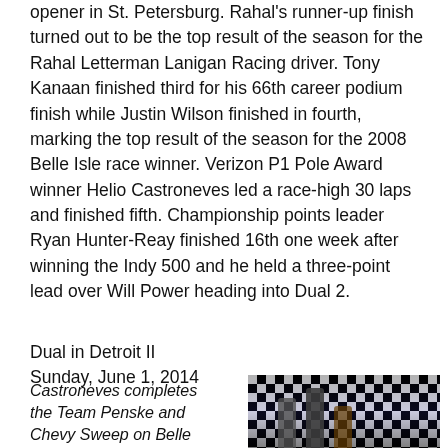opener in St. Petersburg. Rahal's runner-up finish turned out to be the top result of the season for the Rahal Letterman Lanigan Racing driver. Tony Kanaan finished third for his 66th career podium finish while Justin Wilson finished in fourth, marking the top result of the season for the 2008 Belle Isle race winner. Verizon P1 Pole Award winner Helio Castroneves led a race-high 30 laps and finished fifth. Championship points leader Ryan Hunter-Reay finished 16th one week after winning the Indy 500 and he held a three-point lead over Will Power heading into Dual 2.
Dual in Detroit II
Sunday, June 1, 2014
Castroneves completes the Team Penske and Chevy Sweep on Belle Isle
[Figure (photo): Photo of racing podium celebration with checkered flag backdrop and three figures raising arms; Grand Prix signage visible]